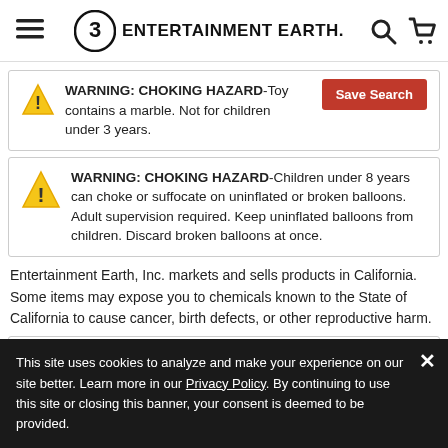Entertainment Earth navigation bar with hamburger menu, logo, search and cart icons
WARNING: CHOKING HAZARD-Toy contains a marble. Not for children under 3 years.
WARNING: CHOKING HAZARD-Children under 8 years can choke or suffocate on uninflated or broken balloons. Adult supervision required. Keep uninflated balloons from children. Discard broken balloons at once.
Entertainment Earth, Inc. markets and sells products in California. Some items may expose you to chemicals known to the State of California to cause cancer, birth defects, or other reproductive harm.
This site uses cookies to analyze and make your experience on our site better. Learn more in our Privacy Policy. By continuing to use this site or closing this banner, your consent is deemed to be provided.